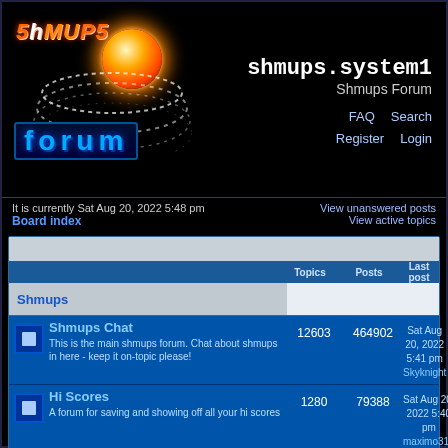[Figure (logo): Shmups Forum logo with orange/yellow globe and stylized text SHMUPS FORUM]
shmups.system1
Shmups Forum
FAQ  Search  Register  Login
It is currently Sat Aug 20, 2022 5:48 pm
Board index
View unanswered posts  View active topics
| Forum | Topics | Posts | Last post |
| --- | --- | --- | --- |
| Shmups |  |  |  |
| Shmups Chat
This is the main shmups forum. Chat about shmups in here - keep it on-topic please! | 12603 | 464902 | Sat Aug 20, 2022 5:41 pm
Skyknight |
| Hi Scores
A forum for saving and showing off all your hi scores | 1280 | 79388 | Sat Aug 20, 2022 5:40 pm
maximo310 |